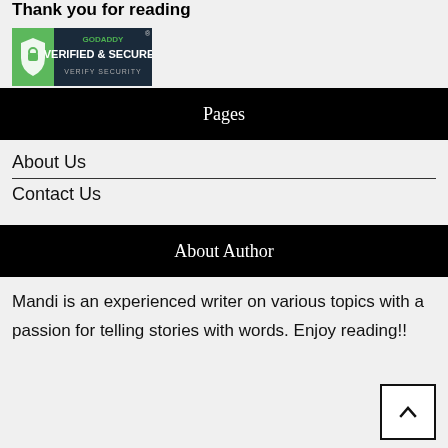Thank you for reading
[Figure (logo): GoDaddy Verified & Secured badge with shield icon and 'VERIFY SECURITY' text]
Pages
About Us
Contact Us
About Author
Mandi is an experienced writer on various topics with a passion for telling stories with words. Enjoy reading!!